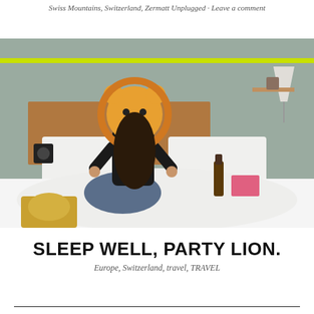Swiss Mountains, Switzerland, Zermatt Unplugged · Leave a comment
[Figure (photo): A woman sitting cross-legged on a white hotel bed, holding a lion plush mask over her face, with a beer bottle, pink book, and snack bag on the bed. Hotel room with green accent strip and wooden headboard.]
SLEEP WELL, PARTY LION.
Europe, Switzerland, travel, TRAVEL